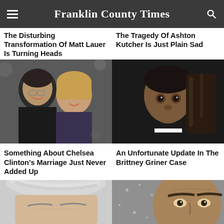Franklin County Times
The Disturbing Transformation Of Matt Lauer Is Turning Heads
The Tragedy Of Ashton Kutcher Is Just Plain Sad
[Figure (photo): Photo of a couple (man and woman) smiling at a formal event]
[Figure (photo): Photo of Brittney Griner on basketball court in black and white sports uniform]
Something About Chelsea Clinton's Marriage Just Never Added Up
An Unfortunate Update In The Brittney Griner Case
[Figure (photo): Close-up photo of an older person with grey hair, partially visible]
[Figure (photo): Close-up photo of a man's face with intense expression]